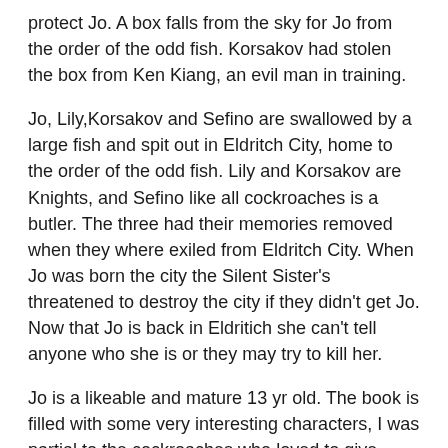protect Jo. A box falls from the sky for Jo from the order of the odd fish. Korsakov had stolen the box from Ken Kiang, an evil man in training.
Jo, Lily,Korsakov and Sefino are swallowed by a large fish and spit out in Eldritch City, home to the order of the odd fish. Lily and Korsakov are Knights, and Sefino like all cockroaches is a butler. The three had their memories removed when they where exiled from Eldritch City. When Jo was born the city the Silent Sister's threatened to destroy the city if they didn't get Jo. Now that Jo is back in Eldritich she can't tell anyone who she is or they may try to kill her.
Jo is a likeable and mature 13 yr old. The book is filled with some very interesting characters, I was partial to the cockroaches who loved to give grand speeches.
"An ugly and withered cockroach laid hold of Jo, causing her to yelp and step back. Do not fear I understand your cries of ecstasy , said the cockroach leaning forward. It is not often that I condescend to touch my admirers I am of course the great Benozzo. Jo's skin winced under the cockroaches slick